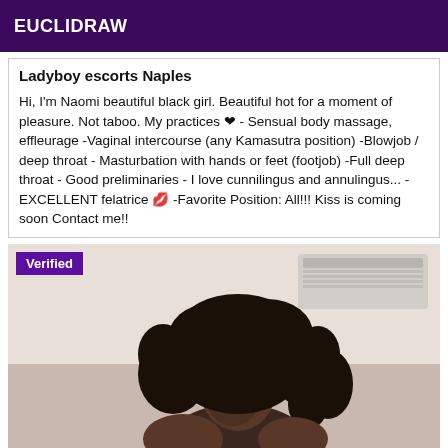EUCLIDRAW
Ladyboy escorts Naples
Hi, I'm Naomi beautiful black girl. Beautiful hot for a moment of pleasure. Not taboo. My practices ❤ - Sensual body massage, effleurage -Vaginal intercourse (any Kamasutra position) -Blowjob / deep throat - Masturbation with hands or feet (footjob) -Full deep throat - Good preliminaries - I love cunnilingus and annulingus... - EXCELLENT felatrice 💋 -Favorite Position: All!!! Kiss is coming soon Contact me!!
[Figure (photo): Photo of a young woman with long curly dark hair, posing indoors near an air conditioning unit. A 'Verified' badge is shown in the top-left corner of the image.]